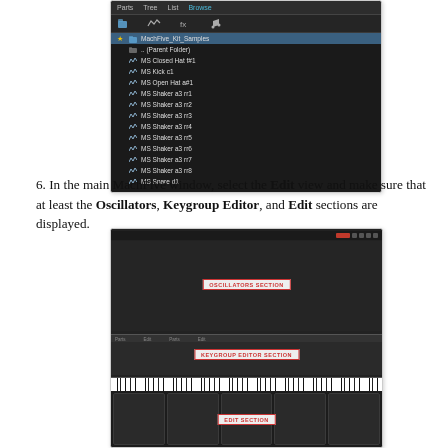[Figure (screenshot): MachFive browser window showing Browse tab with MachFive_Kit_Samples folder containing audio samples: Parent Folder, MS Closed Hat f#1, MS Kick c1, MS Open Hat a#1, MS Shaker a3 rr1 through rr8, MS Snare d1]
6. In the main MachFive window, select the Edit view and make sure that at least the Oscillators, Keygroup Editor, and Edit sections are displayed.
[Figure (screenshot): MachFive Edit view window showing labeled sections: OSCILLATORS SECTION (top), KEYGROUP EDITOR SECTION (middle with piano keyboard), and EDIT SECTION (bottom)]